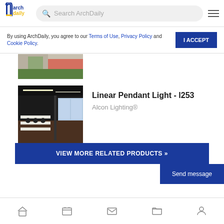ArchDaily - Search ArchDaily
By using ArchDaily, you agree to our Terms of Use, Privacy Policy and Cookie Policy.
[Figure (photo): Partial view of a building exterior with red/pink wall and greenery]
[Figure (photo): Interior office space with linear pendant lights on ceiling, rows of desks and chairs, large windows in background]
Linear Pendant Light - l253
Alcon Lighting®
VIEW MORE RELATED PRODUCTS »
Send message
Bottom navigation icons